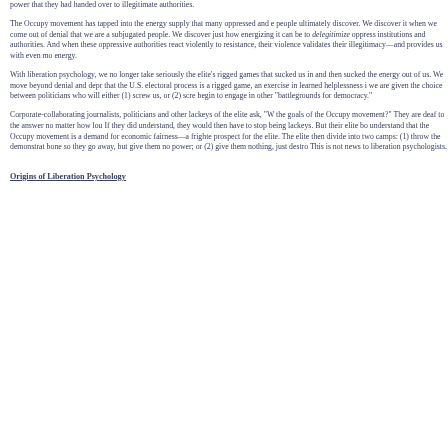power that they had handed over to illegitimate authorities.
The Occupy movement has tapped into the energy supply that many oppressed and e people ultimately discover. We discover it when we come out of denial that we are a subjugated people. We discover just how energizing it can be to delegitimize oppress institutions and authorities. And when these oppressive authorities react violently to resistance, their violence validates their illegitimacy—and provides us with even mo energy.
With liberation psychology, we no longer take seriously the elite's rigged games that sucked us in and then sucked the energy out of us. We move beyond denial and depr that the U.S. electoral process is a rigged game, an exercise in learned helplessness i we are given the choice between politicians who will either (1) screw us, or (2) scre begin to engage in other "battlegrounds for democracy."
Corporate-collaborating journalists, politicians and other lackeys of the elite ask, "W the goals of the Occupy movement?" They are deaf to the answer no matter how lou If they did understand, they would then have to stop being lackeys. But their elite bo understand that the Occupy movement is a demand for economic fairness—a frighte prospect for the elite. The elite then divide into two camps: (1) throw the demonstrat bone so they go away, but give them no power; or (2) give them nothing, just destro This is not news to liberation psychologists.
Origins of Liberation Psychology